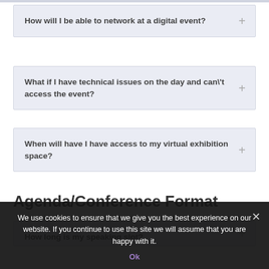How will I be able to network at a digital event?
What if I have technical issues on the day and can\'t access the event?
When will have I have access to my virtual exhibition space?
Agenda/Conference Format
How long is my speaking slot?
We use cookies to ensure that we give you the best experience on our website. If you continue to use this site we will assume that you are happy with it.
Ok